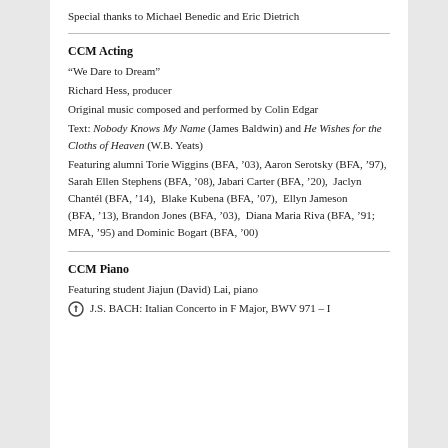Special thanks to Michael Benedic and Eric Dietrich
CCM Acting
“We Dare to Dream”
Richard Hess, producer
Original music composed and performed by Colin Edgar
Text: Nobody Knows My Name (James Baldwin) and He Wishes for the Cloths of Heaven (W.B. Yeats)
Featuring alumni Torie Wiggins (BFA,’03), Aaron Serotsky (BFA,’97), Sarah Ellen Stephens (BFA,’08), Jabari Carter (BFA,’20),  Jaclyn Chantél (BFA,’14),  Blake Kubena (BFA,’07),  Ellyn Jameson (BFA,’13), Brandon Jones (BFA,’03),  Diana Maria Riva (BFA,’91; MFA,’95) and Dominic Bogart (BFA,’00)
CCM Piano
Featuring student Jiajun (David) Lai, piano
J.S. BACH: Italian Concerto in F Major, BWV 971 – I